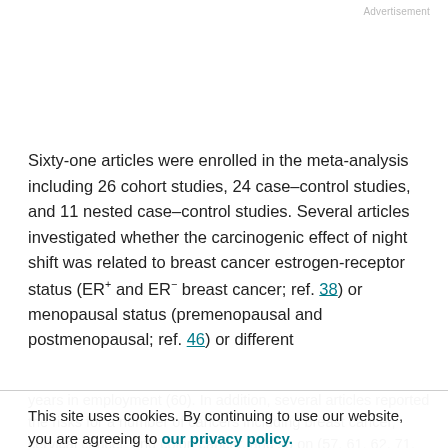Advertisement
Sixty-one articles were enrolled in the meta-analysis including 26 cohort studies, 24 case–control studies, and 11 nested case–control studies. Several articles investigated whether the carcinogenic effect of night shift was related to breast cancer estrogen-receptor status (ER+ and ER− breast cancer; ref. 38) or menopausal status (premenopausal and postmenopausal; ref. 46) or different
years in employment (60). In addition, several articles reported the risks for a number of cancers including breast cancer, cervical cancer, and colon cancer, and so on (57, 61, 62, 71, 77). One study (82) evaluated associations
This site uses cookies. By continuing to use our website, you are agreeing to our privacy policy. Accept